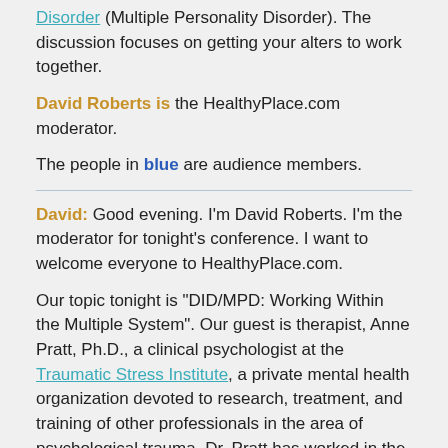Disorder (Multiple Personality Disorder). The discussion focuses on getting your alters to work together.
David Roberts is the HealthyPlace.com moderator.
The people in blue are audience members.
David: Good evening. I'm David Roberts. I'm the moderator for tonight's conference. I want to welcome everyone to HealthyPlace.com.
Our topic tonight is "DID/MPD: Working Within the Multiple System". Our guest is therapist, Anne Pratt, Ph.D., a clinical psychologist at the Traumatic Stress Institute, a private mental health organization devoted to research, treatment, and training of other professionals in the area of psychological trauma. Dr. Pratt has worked in the field for fifteen years, and has extensive experience with Dissociative Identity Disorder. If you are unfamiliar with DID/MPD, here's a link for further explanation of